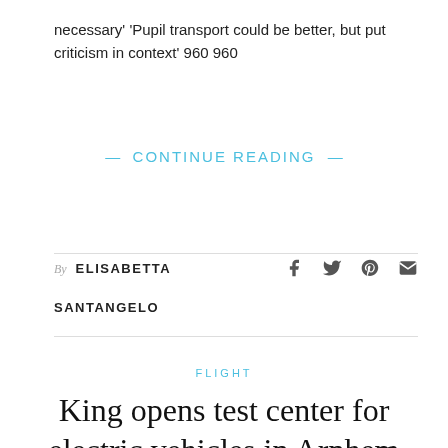necessary' 'Pupil transport could be better, but put criticism in context' 960 960
— CONTINUE READING —
By ELISABETTA SANTANGELO
FLIGHT
King opens test center for electric vehicles in Arnhem